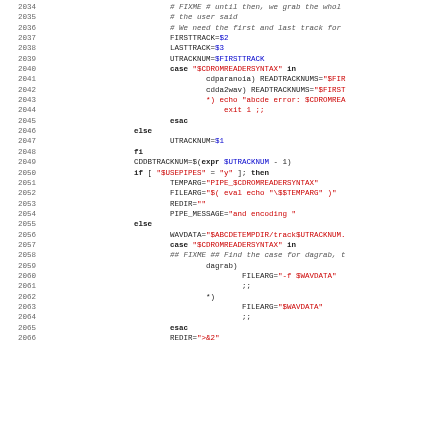[Figure (screenshot): Source code listing (shell script) with line numbers 2034-2066, showing bash/shell script code with syntax highlighting: keywords in bold, string literals in red, variable references in blue, and comments in italic gray.]